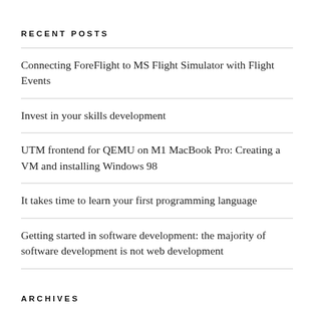RECENT POSTS
Connecting ForeFlight to MS Flight Simulator with Flight Events
Invest in your skills development
UTM frontend for QEMU on M1 MacBook Pro: Creating a VM and installing Windows 98
It takes time to learn your first programming language
Getting started in software development: the majority of software development is not web development
ARCHIVES